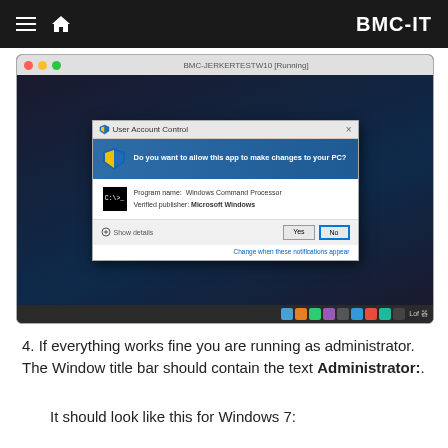BMC-IT
[Figure (screenshot): A macOS VirtualBox window titled 'BMC-JERKERTESTW10 [Running]' showing a Windows 10 desktop with a User Account Control dialog box asking 'Do you want to allow this app to make changes to your PC?' with Program name: Windows Command Processor and Verified publisher: Microsoft Windows. Buttons: Yes and No (No highlighted).]
4. If everything works fine you are running as administrator. The Window title bar should contain the text Administrator:.
It should look like this for Windows 7: